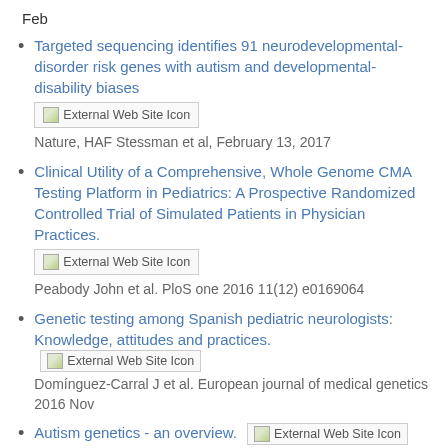Feb
Targeted sequencing identifies 91 neurodevelopmental-disorder risk genes with autism and developmental-disability biases
Nature, HAF Stessman et al, February 13, 2017
Clinical Utility of a Comprehensive, Whole Genome CMA Testing Platform in Pediatrics: A Prospective Randomized Controlled Trial of Simulated Patients in Physician Practices.
Peabody John et al. PloS one 2016 11(12) e0169064
Genetic testing among Spanish pediatric neurologists: Knowledge, attitudes and practices.
Domínguez-Carral J et al. European journal of medical genetics 2016 Nov
Autism genetics - an overview.
Yin Jiani et al. Prenatal diagnosis 2016 Oct